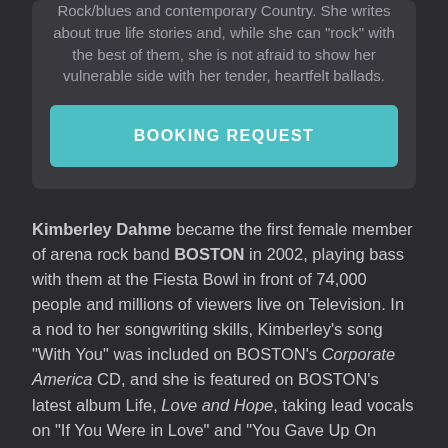Rock/blues and contemporary Country. She writes about true life stories and, while she can "rock" with the best of them, she is not afraid to show her vulnerable side with her tender, heartfelt ballads.
BOOKING REQUEST
Kimberley Dahme became the first female member of arena rock band BOSTON in 2002, playing bass with them at the Fiesta Bowl in front of 74,000 people and millions of viewers live on Television. In a nod to her songwriting skills, Kimberley's song "With You" was included on BOSTON's Corporate America CD, and she is featured on BOSTON's latest album Life, Love and Hope, taking lead vocals on "If You Were in Love" and "You Gave Up On Love," along with sharing lead vocals with the late Brad Delp on "Sail Away." She is currently working on her third solo album, which will be just her and an acoustic guitar.